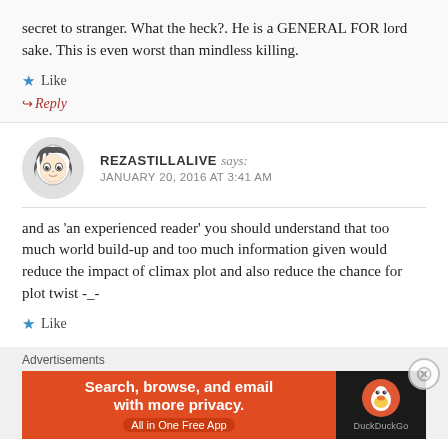secret to stranger. What the heck?. He is a GENERAL FOR lord sake. This is even worst than mindless killing.
★ Like
↪ Reply
REZASTILLALIVE says: JANUARY 20, 2016 AT 3:41 AM
and as 'an experienced reader' you should understand that too much world build-up and too much information given would reduce the impact of climax plot and also reduce the chance for plot twist -_-
★ Like
[Figure (illustration): DuckDuckGo advertisement banner: orange left panel with text 'Search, browse, and email with more privacy. All in One Free App' and black right panel with DuckDuckGo logo and name]